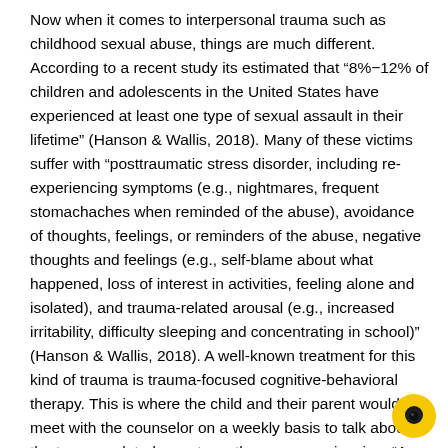Now when it comes to interpersonal trauma such as childhood sexual abuse, things are much different. According to a recent study its estimated that “8%−12% of children and adolescents in the United States have experienced at least one type of sexual assault in their lifetime” (Hanson & Wallis, 2018). Many of these victims suffer with “posttraumatic stress disorder, including re-experiencing symptoms (e.g., nightmares, frequent stomachaches when reminded of the abuse), avoidance of thoughts, feelings, or reminders of the abuse, negative thoughts and feelings (e.g., self-blame about what happened, loss of interest in activities, feeling alone and isolated), and trauma-related arousal (e.g., increased irritability, difficulty sleeping and concentrating in school)” (Hanson & Wallis, 2018). A well-known treatment for this kind of trauma is trauma-focused cognitive-behavioral therapy. This is where the child and their parent would meet with the counselor on a weekly basis to talk about the trauma related symptoms they are experiencing. “An important component of trauma-focused CBT is the inclusion of the caregiver in sessions as a way to build support, teach the same skills being taught to the child, increase communication about the traumatic event, and increase the likelihood that skill acquisition would generalize to the home environment” (Hanson & Wallis, 2018). Even with these interventions